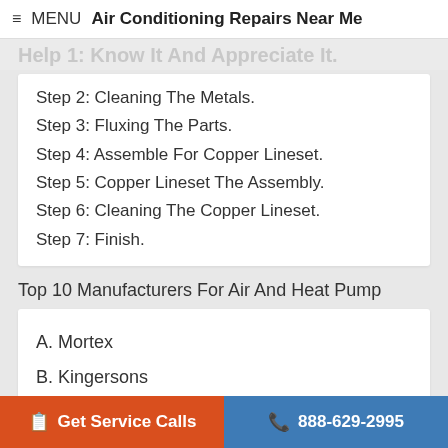≡ MENU  Air Conditioning Repairs Near Me
Help 1: Know It And Appreciate It.
Step 2: Cleaning The Metals.
Step 3: Fluxing The Parts.
Step 4: Assemble For Copper Lineset.
Step 5: Copper Lineset The Assembly.
Step 6: Cleaning The Copper Lineset.
Step 7: Finish.
Top 10 Manufacturers For Air And Heat Pump
A. Mortex
B. Kingersons
Recently Sold Tools For AC Air Conditioning
Get Service Calls  888-629-2995